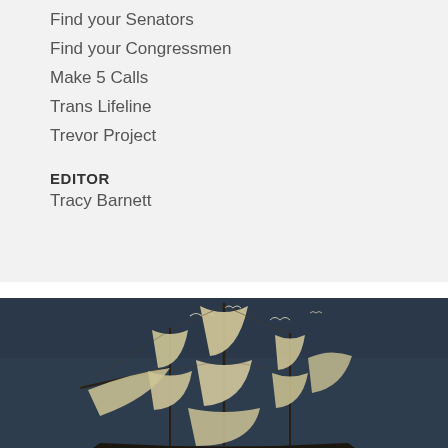Find your Senators
Find your Congressmen
Make 5 Calls
Trans Lifeline
Trevor Project
EDITOR
Tracy Barnett
[Figure (illustration): Painting of a tall sailing ship with multiple white sails billowing against a dark blue-grey stormy sky, with sea birds flying above.]